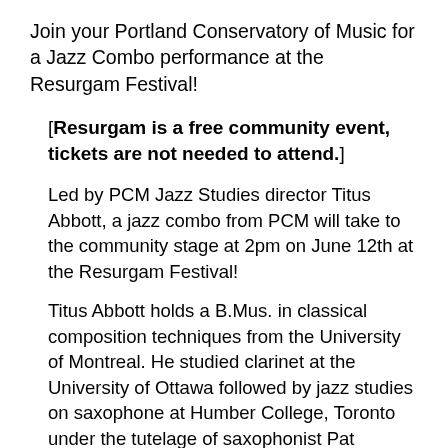Join your Portland Conservatory of Music for a Jazz Combo performance at the Resurgam Festival!
[Resurgam is a free community event, tickets are not needed to attend.]
Led by PCM Jazz Studies director Titus Abbott, a jazz combo from PCM will take to the community stage at 2pm on June 12th at the Resurgam Festival!
Titus Abbott holds a B.Mus. in classical composition techniques from the University of Montreal. He studied clarinet at the University of Ottawa followed by jazz studies on saxophone at Humber College, Toronto under the tutelage of saxophonist Pat Labarbera. He has also studied with jazz greats Kenny Wheeler, Dave Holland, Steve Coleman, Mal...